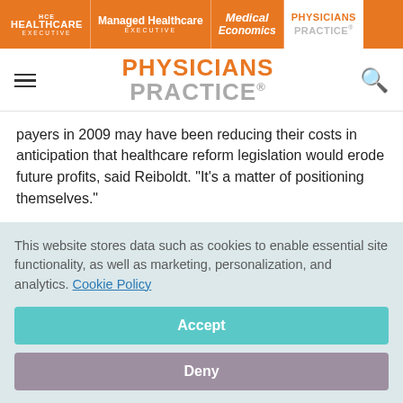HCE HEALTHCARE EXECUTIVE | Managed Healthcare EXECUTIVE | Medical Economics | PHYSICIANS PRACTICE
[Figure (logo): Physicians Practice logo with hamburger menu and search icon]
payers in 2009 may have been reducing their costs in anticipation that healthcare reform legislation would erode future profits, said Reiboldt. "It's a matter of positioning themselves."
How to deal
This website stores data such as cookies to enable essential site functionality, as well as marketing, personalization, and analytics. Cookie Policy
Accept
Deny